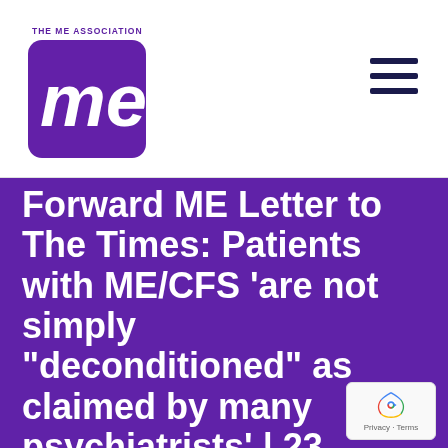[Figure (logo): The ME Association logo — purple rounded rectangle with white 'me' text and 'THE ME ASSOCIATION' caption above]
Forward ME Letter to The Times: Patients with ME/CFS 'are not simply "deconditioned" as claimed by many psychiatrists' | 23 March 2018